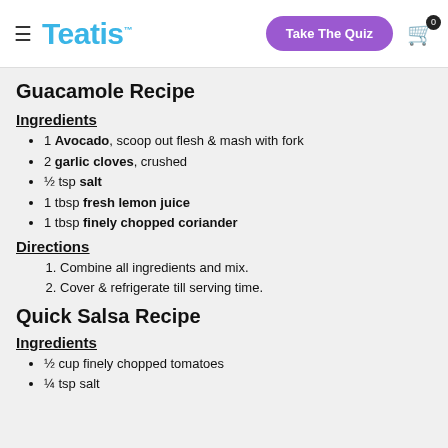Teatis | Take The Quiz
Guacamole Recipe
Ingredients
1 Avocado, scoop out flesh & mash with fork
2 garlic cloves, crushed
½ tsp salt
1 tbsp fresh lemon juice
1 tbsp finely chopped coriander
Directions
1. Combine all ingredients and mix.
2. Cover & refrigerate till serving time.
Quick Salsa Recipe
Ingredients
½ cup finely chopped tomatoes
¼ tsp salt